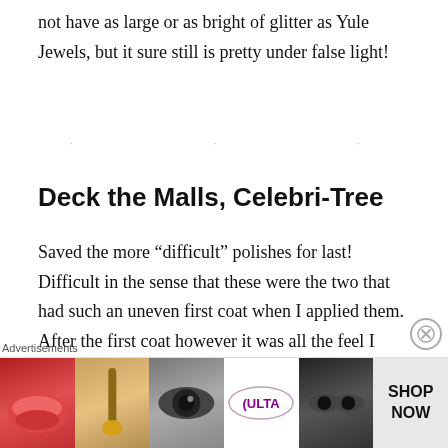not have as large or as bright of glitter as Yule Jewels, but it sure still is pretty under false light!
[Figure (other): Three small decorative dots used as a section divider]
Deck the Malls, Celebri-Tree
Saved the more “difficult” polishes for last! Difficult in the sense that these were the two that had such an uneven first coat when I applied them. After the first coat however it was all the feel I needed to do the second to make it more level. Both didn’t dry to a super textured finish but a glossy top coat definitely helps make them
[Figure (other): Advertisements banner for ULTA beauty showing lip, brush, eye, logo, eyes, and shop now panel]
Advertisements